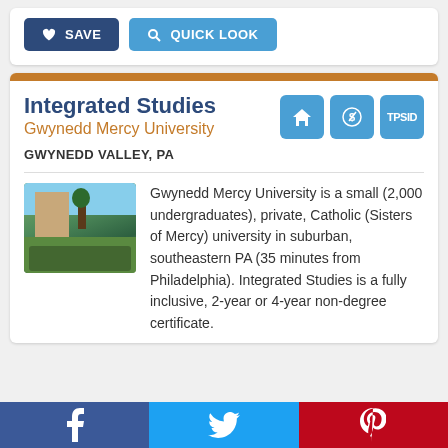[Figure (screenshot): Two buttons: a dark navy SAVE button with heart icon, and a light blue QUICK LOOK button with search icon]
Integrated Studies
Gwynedd Mercy University
GWYNEDD VALLEY, PA
[Figure (photo): Outdoor campus photo showing a group of students or program participants posing near a tall pole/flagpole with trees and buildings in background]
Gwynedd Mercy University is a small (2,000 undergraduates), private, Catholic (Sisters of Mercy) university in suburban, southeastern PA (35 minutes from Philadelphia). Integrated Studies is a fully inclusive, 2-year or 4-year non-degree certificate.
Facebook   Twitter   Pinterest